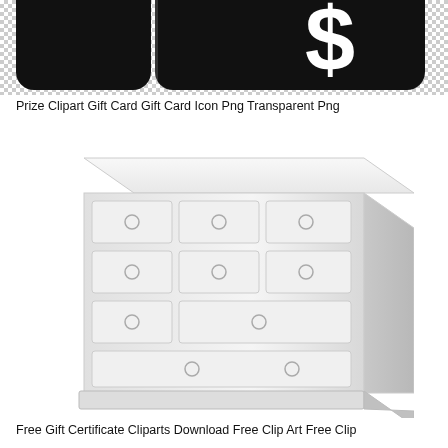[Figure (illustration): Black gift card icon with dollar sign on a checkerboard (transparent) background, cropped at top]
Prize Clipart Gift Card Gift Card Icon Png Transparent Png
[Figure (illustration): White/light gray illustration of a dresser with multiple drawers and circular handles, on white background]
Free Gift Certificate Cliparts Download Free Clip Art Free Clip